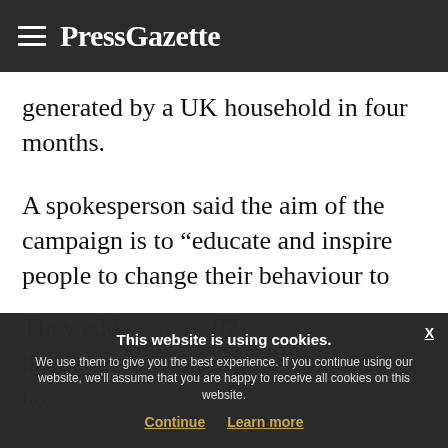PressGazette
generated by a UK household in four months.
A spokesperson said the aim of the campaign is to “educate and inspire people to change their behaviour to help protect our oceans and dramatically reduce the amount of plastic waste produced every day that end up in them”.
They add... the issues to life through its platforms hopes to inspire millions...
This website is using cookies. We use them to give you the best experience. If you continue using our website, we’ll assume that you are happy to receive all cookies on this website. Continue  Learn more